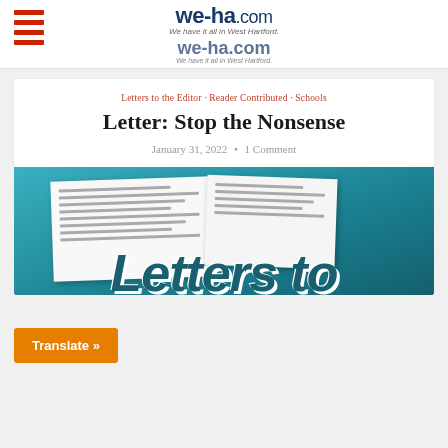we-ha.com — We have it all in West Hartford.
Letters to the Editor · Reader Contributed · Schools
Letter: Stop the Nonsense
January 31, 2022 • 1 Comment
[Figure (photo): Photo of letters/documents on a teal/blue background with 'Letters to' text overlaid in large bold italic font]
Translate »